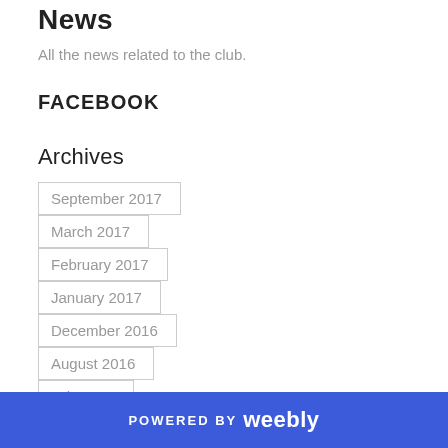News
All the news related to the club.
FACEBOOK
Archives
September 2017
March 2017
February 2017
January 2017
December 2016
August 2016
July 2016
June 2016
POWERED BY weebly